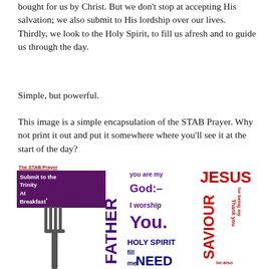bought for us by Christ. But we don't stop at accepting His salvation; we also submit to His lordship over our lives.
Thirdly, we look to the Holy Spirit, to fill us afresh and to guide us through the day.
Simple, but powerful.
This image is a simple encapsulation of the STAB Prayer. Why not print it out and put it somewhere where you'll see it at the start of the day?
[Figure (illustration): The STAB Prayer image: 'Submit to the Trinity At Breakfast' with fork icon on left, FATHER text in purple vertically, 'you are my God:- I worship You.' in purple, HOLY SPIRIT text and 'NEED', JESUS SAVIOUR in red on right with 'Thank you for being my' text, 'be also' at bottom right.]